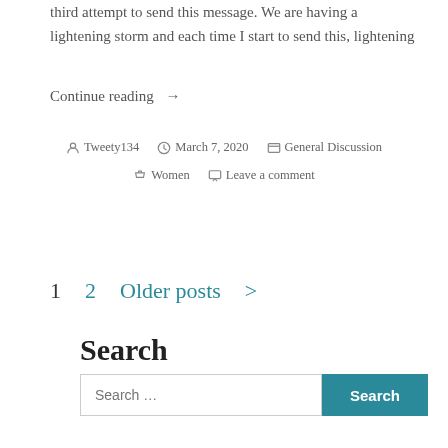third attempt to send this message. We are having a lightening storm and each time I start to send this, lightening
Continue reading →
By Tweety134   March 7, 2020   General Discussion   Women   Leave a comment
1  2  Older posts >
Search
Search ...